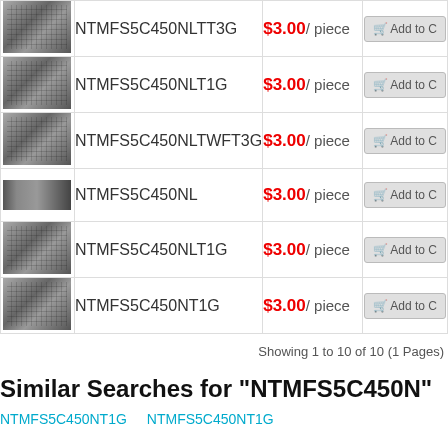| Image | Name | Price | Action |
| --- | --- | --- | --- |
| [img] | NTMFS5C450NLTT3G | $3.00 / piece | Add to Cart |
| [img] | NTMFS5C450NLT1G | $3.00 / piece | Add to Cart |
| [img] | NTMFS5C450NLTWFT3G | $3.00 / piece | Add to Cart |
| [img] | NTMFS5C450NL | $3.00 / piece | Add to Cart |
| [img] | NTMFS5C450NLT1G | $3.00 / piece | Add to Cart |
| [img] | NTMFS5C450NT1G | $3.00 / piece | Add to Cart |
Showing 1 to 10 of 10 (1 Pages)
Similar Searches for "NTMFS5C450N"
NTMFS5C450NT1G   NTMFS5C450NT1G